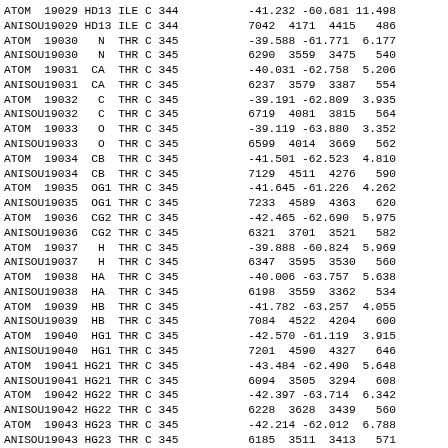| ATOM  19029 HD13 ILE C 344 | -41.232 -60.681 11.498 |
| ANISOU19029 HD13 ILE C 344 | 7042  4171  4415   486 |
| ATOM  19030   N  THR C 345 | -39.588 -61.771  6.177 |
| ANISOU19030   N  THR C 345 | 6290  3559  3475   540 |
| ATOM  19031  CA  THR C 345 | -40.031 -62.758  5.206 |
| ANISOU19031  CA  THR C 345 | 6237  3579  3387   554 |
| ATOM  19032   C  THR C 345 | -39.191 -62.809  3.935 |
| ANISOU19032   C  THR C 345 | 6719  4081  3815   564 |
| ATOM  19033   O  THR C 345 | -39.119 -63.880  3.352 |
| ANISOU19033   O  THR C 345 | 6599  4014  3669   562 |
| ATOM  19034  CB  THR C 345 | -41.501 -62.523  4.810 |
| ANISOU19034  CB  THR C 345 | 7129  4511  4276   590 |
| ATOM  19035  OG1 THR C 345 | -41.645 -61.226  4.262 |
| ANISOU19035  OG1 THR C 345 | 7233  4589  4363   620 |
| ATOM  19036  CG2 THR C 345 | -42.465 -62.690  5.975 |
| ANISOU19036  CG2 THR C 345 | 6321  3701  3521   582 |
| ATOM  19037   H  THR C 345 | -39.888 -60.824  5.969 |
| ANISOU19037   H  THR C 345 | 6347  3595  3530   560 |
| ATOM  19038  HA  THR C 345 | -40.006 -63.757  5.638 |
| ANISOU19038  HA  THR C 345 | 6198  3559  3362   534 |
| ATOM  19039  HB  THR C 345 | -41.782 -63.257  4.055 |
| ANISOU19039  HB  THR C 345 | 7084  4522  4204   600 |
| ATOM  19040  HG1 THR C 345 | -42.570 -61.119  3.915 |
| ANISOU19040  HG1 THR C 345 | 7201  4590  4327   646 |
| ATOM  19041 HG21 THR C 345 | -43.484 -62.490  5.648 |
| ANISOU19041 HG21 THR C 345 | 6094  3505  3294   608 |
| ATOM  19042 HG22 THR C 345 | -42.397 -63.714  6.342 |
| ANISOU19042 HG22 THR C 345 | 6228  3628  3439   560 |
| ATOM  19043 HG23 THR C 345 | -42.214 -62.012  6.788 |
| ANISOU19043 HG23 THR C 345 | 6185  3511  3413   571 |